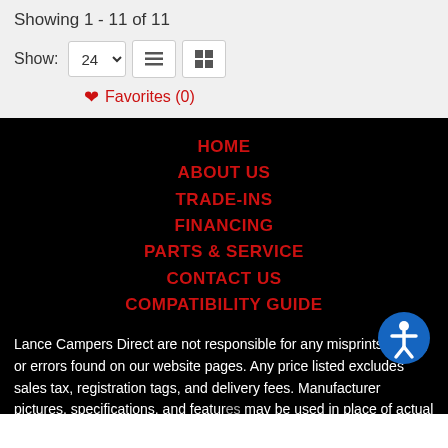Showing 1 - 11 of 11
Show: 24 [list view] [grid view]
♥ Favorites (0)
HOME
ABOUT US
TRADE-INS
FINANCING
PARTS & SERVICE
CONTACT US
COMPATIBILITY GUIDE
Lance Campers Direct are not responsible for any misprints, typos, or errors found on our website pages. Any price listed excludes sales tax, registration tags, and delivery fees. Manufacturer pictures, specifications, and features may be used in place of actual units on our lot. Please contact us @ 800-…1348 for availability as our inventory changes rapidly. All calculated payments are an estimate only and do not constitute a commitment that financing or a